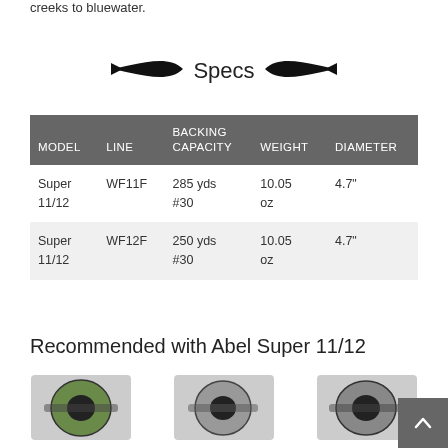creeks to bluewater.
Specs
| MODEL | LINE | BACKING CAPACITY | WEIGHT | DIAMETER |
| --- | --- | --- | --- | --- |
| Super 11/12 | WF11F | 285 yds #30 | 10.05 oz | 4.7" |
| Super 11/12 | WF12F | 250 yds #30 | 10.05 oz | 4.7" |
Recommended with Abel Super 11/12
[Figure (photo): Product images of fishing reels recommended with Abel Super 11/12]